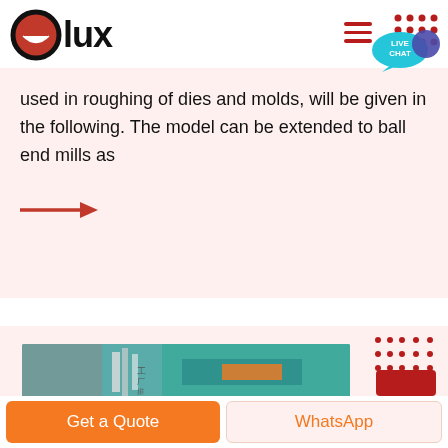[Figure (logo): Olux brand logo with red circle smiley face and bold text 'lux']
used in roughing of dies and molds, will be given in the following. The model can be extended to ball end mills as
[Figure (illustration): Red arrow pointing right]
[Figure (photo): Industrial machine or milling equipment in a workshop setting, teal/green colored machine]
Get a Quote
WhatsApp